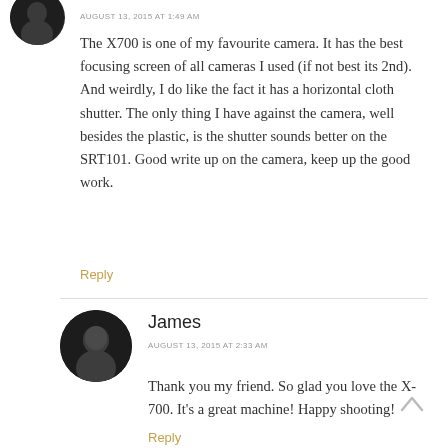[Figure (photo): Circular avatar photo of a user (dark/black image), partially cropped at top]
AUGUST 13, 2015 AT 1:49 AM
The X700 is one of my favourite camera. It has the best focusing screen of all cameras I used (if not best its 2nd). And weirdly, I do like the fact it has a horizontal cloth shutter. The only thing I have against the camera, well besides the plastic, is the shutter sounds better on the SRT101. Good write up on the camera, keep up the good work.
Reply
[Figure (photo): Circular avatar photo of James, a person with dark hair]
James
AUGUST 13, 2015 AT 2:33 AM
Thank you my friend. So glad you love the X-700. It's a great machine! Happy shooting!
Reply